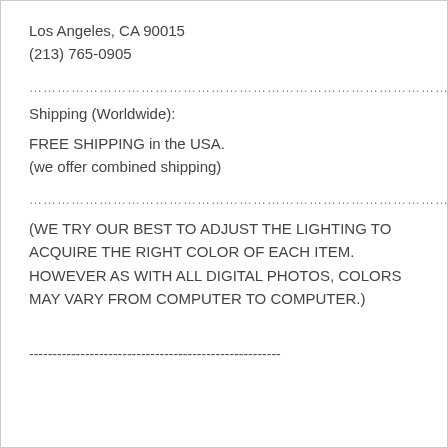Los Angeles, CA 90015
(213) 765-0905
………………………………………………………………………………………………………………
Shipping (Worldwide):
FREE SHIPPING in the USA.
(we offer combined shipping)
………………………………………………………………………………………………………………
(WE TRY OUR BEST TO ADJUST THE LIGHTING TO ACQUIRE THE RIGHT COLOR OF EACH ITEM. HOWEVER AS WITH ALL DIGITAL PHOTOS, COLORS MAY VARY FROM COMPUTER TO COMPUTER.)
------------------------------------------------------